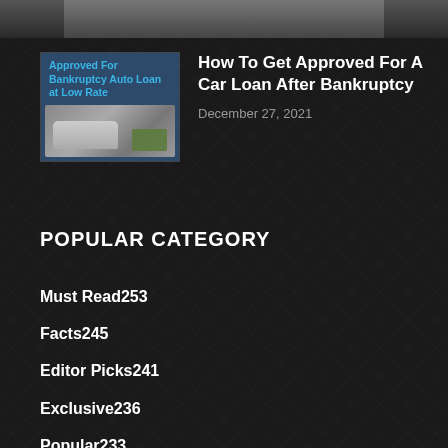[Figure (photo): Top cropped image of a person, partially visible, dark background]
[Figure (photo): Thumbnail image showing a car and money with text 'Approved For Bankruptcy Auto Loan at Low Rate' on blue/dark background]
How To Get Approved For A Car Loan After Bankruptcy
December 27, 2021
POPULAR CATEGORY
Must Read253
Facts245
Editor Picks241
Exclusive236
Popular233
News211
Debt27
Pallet22